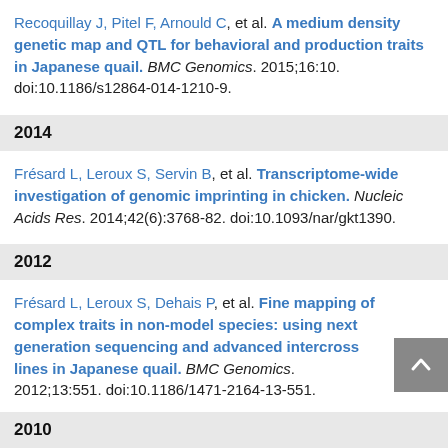Recoquillay J, Pitel F, Arnould C, et al. A medium density genetic map and QTL for behavioral and production traits in Japanese quail. BMC Genomics. 2015;16:10. doi:10.1186/s12864-014-1210-9.
2014
Frésard L, Leroux S, Servin B, et al. Transcriptome-wide investigation of genomic imprinting in chicken. Nucleic Acids Res. 2014;42(6):3768-82. doi:10.1093/nar/gkt1390.
2012
Frésard L, Leroux S, Dehais P, et al. Fine mapping of complex traits in non-model species: using next generation sequencing and advanced intercross lines in Japanese quail. BMC Genomics. 2012;13:551. doi:10.1186/1471-2164-13-551.
2010